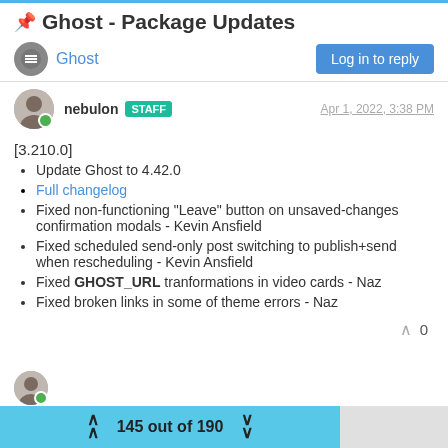📌 Ghost - Package Updates
Ghost | Log in to reply
nebulon STAFF | Apr 1, 2022, 3:38 PM
[3.210.0]
Update Ghost to 4.42.0
Full changelog
Fixed non-functioning "Leave" button on unsaved-changes confirmation modals - Kevin Ansfield
Fixed scheduled send-only post switching to publish+send when rescheduling - Kevin Ansfield
Fixed GHOST_URL tranformations in video cards - Naz
Fixed broken links in some of theme errors - Naz
145 out of 190